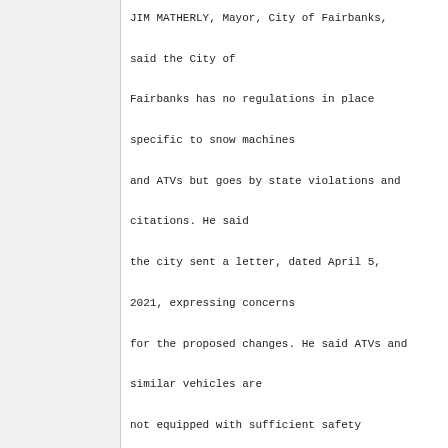JIM MATHERLY, Mayor, City of Fairbanks, said the City of Fairbanks has no regulations in place specific to snow machines and ATVs but goes by state violations and citations. He said the city sent a letter, dated April 5, 2021, expressing concerns for the proposed changes. He said ATVs and similar vehicles are not equipped with sufficient safety equipment, personal restraints, and adequate directional lighting. He said snow removal equipment can be hazardous. He said safety should be paramount; drivers of ATVs and snow machines may not be